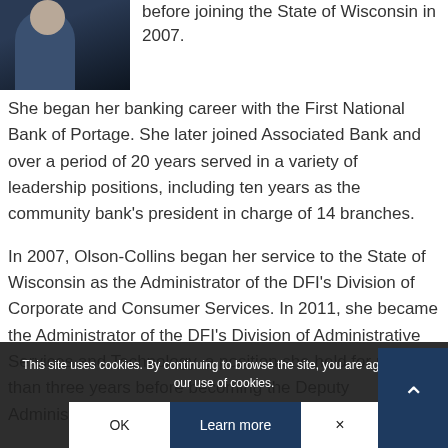[Figure (photo): Portrait photo of a person in a dark suit against a dark background, cropped at top]
before joining the State of Wisconsin in 2007.
She began her banking career with the First National Bank of Portage. She later joined Associated Bank and over a period of 20 years served in a variety of leadership positions, including ten years as the community bank's president in charge of 14 branches.
In 2007, Olson-Collins began her service to the State of Wisconsin as the Administrator of the DFI's Division of Corporate and Consumer Services. In 2011, she became the Administrator of the DFI's Division of Administrative Services and Technology, a position she held for more than three years before becoming the Deputy Administrator of the DFI's Division of Banking
This site uses cookies. By continuing to browse the site, you are agreeing to our use of cookies.